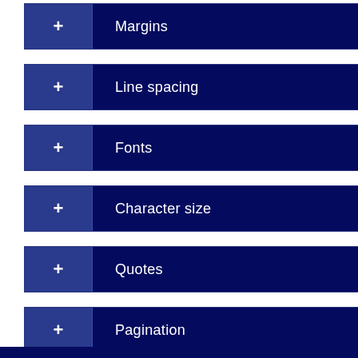+ Margins
+ Line spacing
+ Fonts
+ Character size
+ Quotes
+ Pagination